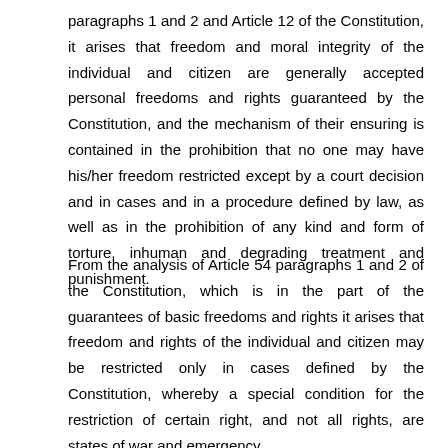paragraphs 1 and 2 and Article 12 of the Constitution, it arises that freedom and moral integrity of the individual and citizen are generally accepted personal freedoms and rights guaranteed by the Constitution, and the mechanism of their ensuring is contained in the prohibition that no one may have his/her freedom restricted except by a court decision and in cases and in a procedure defined by law, as well as in the prohibition of any kind and form of torture, inhuman and degrading treatment and punishment.
From the analysis of Article 54 paragraphs 1 and 2 of the Constitution, which is in the part of the guarantees of basic freedoms and rights it arises that freedom and rights of the individual and citizen may be restricted only in cases defined by the Constitution, whereby a special condition for the restriction of certain right, and not all rights, are states of war and emergency.